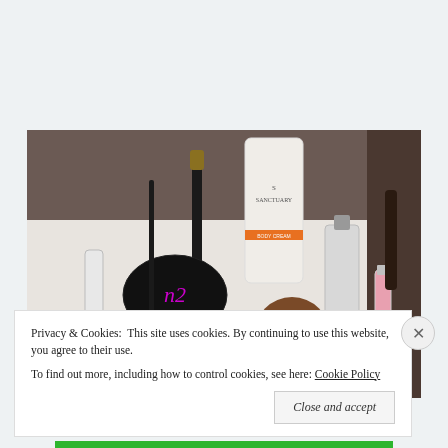[Figure (photo): Photo of various cosmetic and beauty products laid out on a white surface, including mascara, a compact, a brush, a Sanctuary branded cream tube, a perfume/fragrance bottle, lip product, and other makeup items.]
Privacy & Cookies:  This site uses cookies. By continuing to use this website, you agree to their use.
To find out more, including how to control cookies, see here: Cookie Policy
Close and accept